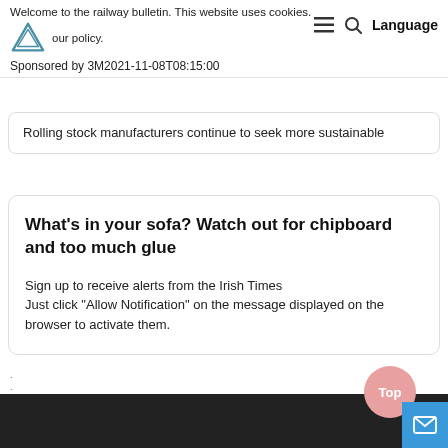Welcome to the railway bulletin. This website uses cookies.
our policy.
Sponsored by 3M2021-11-08T08:15:00
Rolling stock manufacturers continue to seek more sustainable
What's in your sofa? Watch out for chipboard and too much glue
Sign up to receive alerts from the Irish Times
Just click "Allow Notification" on the message displayed on the browser to activate them.